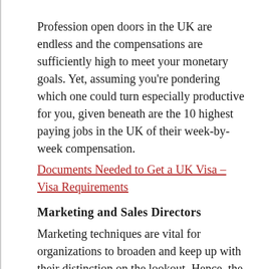Profession open doors in the UK are endless and the compensations are sufficiently high to meet your monetary goals. Yet, assuming you're pondering which one could turn especially productive for you, given beneath are the 10 highest paying jobs in the UK of their week-by-week compensation.
Documents Needed to Get a UK Visa – Visa Requirements
Marketing and Sales Directors
Marketing techniques are vital for organizations to broaden and keep up with their distinction on the lookout. Hence, the people who have the expert abilities to plan and arrange promoting efforts and work with deals are necessary.
Next to their significance in an organization. Marketing, and Sales Directors make up the rundown